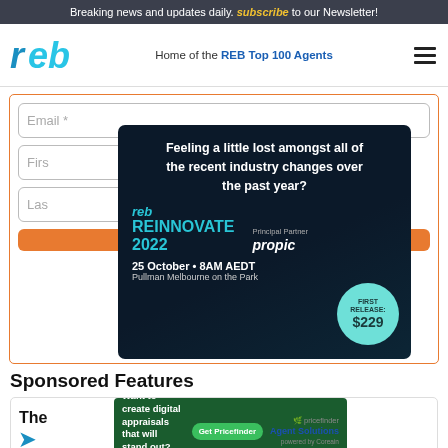Breaking news and updates daily. subscribe to our Newsletter!
[Figure (logo): REB logo - stylized letters 'reb' in blue/cyan italic]
Home of the REB Top 100 Agents
[Figure (screenshot): Email input field with placeholder 'Email *']
[Figure (screenshot): First name and Last name input fields, partially obscured by dark ad banner for REB REINNOVATE 2022 event. Text: Feeling a little lost amongst all of the recent industry changes over the past year? reb REINNOVATE 2022, Principal Partner propic, 25 October • 8AM AEDT, Pullman Melbourne on the Park, FIRST RELEASE: $229]
Sponsored Features
[Figure (screenshot): Sponsored ad card: 'The [partial text]' with REB arrow logo and green ad banner: 'Want to create digital appraisals that will stand out? There's a solution for that.' with Get Pricefinder button and pricefinder Agent Solutions branding]